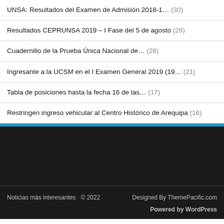UNSA: Resultados del Examen de Admisión 2018-1… (30)
Resultados CEPRUNSA 2019 – I Fase del 5 de agosto (28)
Cuadernillo de la Prueba Única Nacional de… (28)
Ingresante a la UCSM en el I Examen General 2019 (19… (21)
Tabla de posiciones hasta la fecha 16 de las… (17)
Restringen ingreso vehicular al Centro Histórico de Arequipa (16)
Noticias más interesantes  © 2022    Designed By ThemePacific.com    Powered by WordPress